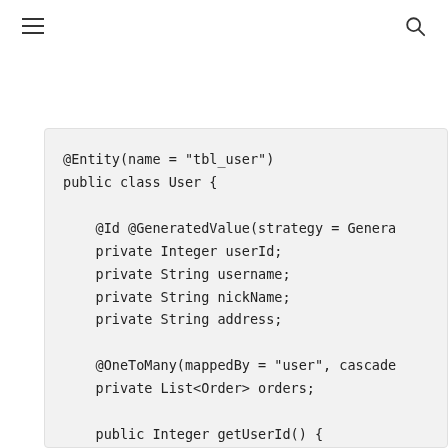≡  🔍
@Entity(name = "tbl_user")
public class User {

    @Id @GeneratedValue(strategy = Genera
    private Integer userId;
    private String username;
    private String nickName;
    private String address;

    @OneToMany(mappedBy = "user", cascade
    private List<Order> orders;

    public Integer getUserId() {
        return userId;
    }
}